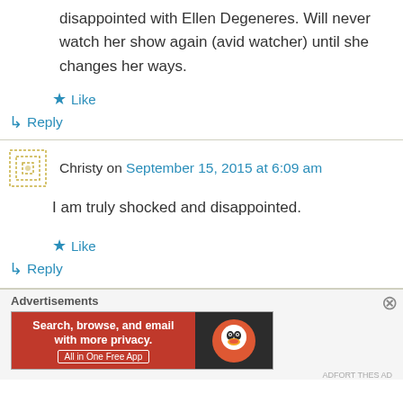disappointed with Ellen Degeneres. Will never watch her show again (avid watcher) until she changes her ways.
★ Like
↳ Reply
Christy on September 15, 2015 at 6:09 am
I am truly shocked and disappointed.
★ Like
↳ Reply
Advertisements
[Figure (other): DuckDuckGo advertisement banner: orange left panel with text 'Search, browse, and email with more privacy. All in One Free App', dark right panel with DuckDuckGo logo.]